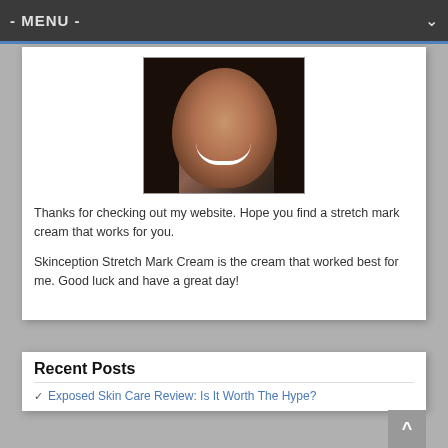- MENU -
[Figure (photo): Portrait photo of a smiling woman with long dark hair, wearing earrings, against a light background.]
Thanks for checking out my website. Hope you find a stretch mark cream that works for you.
Skinception Stretch Mark Cream is the cream that worked best for me. Good luck and have a great day!
Recent Posts
Exposed Skin Care Review: Is It Worth The Hype?